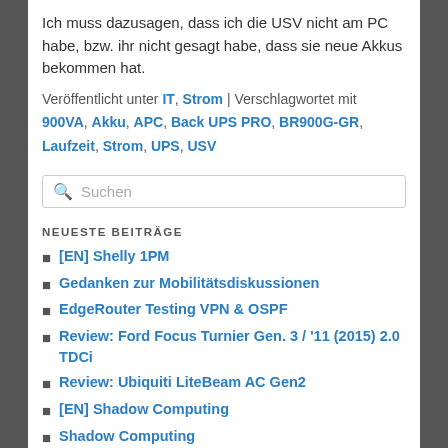Ich muss dazusagen, dass ich die USV nicht am PC habe, bzw. ihr nicht gesagt habe, dass sie neue Akkus bekommen hat.
Veröffentlicht unter IT, Strom | Verschlagwortet mit 900VA, Akku, APC, Back UPS PRO, BR900G-GR, Laufzeit, Strom, UPS, USV
NEUESTE BEITRÄGE
[EN] Shelly 1PM
Gedanken zur Mobilitätsdiskussionen
EdgeRouter Testing VPN & OSPF
Review: Ford Focus Turnier Gen. 3 / '11 (2015) 2.0 TDCi
Review: Ubiquiti LiteBeam AC Gen2
[EN] Shadow Computing
Shadow Computing